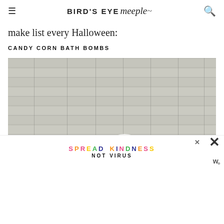BIRD'S EYE meeple
make list every Halloween:
CANDY CORN BATH BOMBS
[Figure (photo): A white round bath bomb with green leaves at the bottom, photographed against a gray wood plank background.]
SPREAD KINDNESS NOT VIRUS